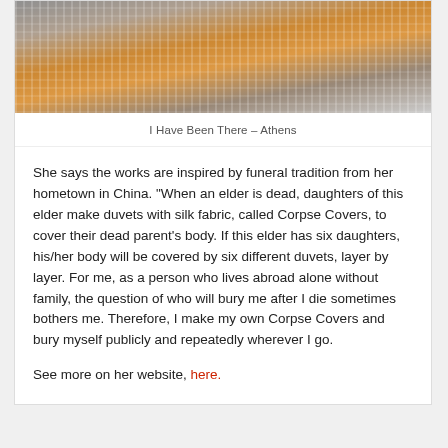[Figure (photo): Person lying in a hammock or net-like structure outdoors, wearing orange/colorful clothing, with a white architectural structure visible in the background.]
I Have Been There – Athens
She says the works are inspired by funeral tradition from her hometown in China. “When an elder is dead, daughters of this elder make duvets with silk fabric, called Corpse Covers, to cover their dead parent’s body. If this elder has six daughters, his/her body will be covered by six different duvets, layer by layer. For me, as a person who lives abroad alone without family, the question of who will bury me after I die sometimes bothers me. Therefore, I make my own Corpse Covers and bury myself publicly and repeatedly wherever I go.
See more on her website, here.